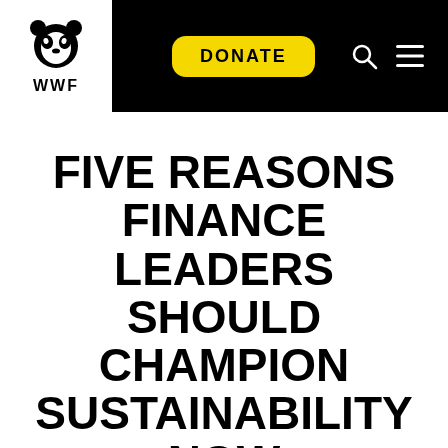[Figure (logo): WWF logo: panda bear icon above WWF text in a white box on a black navigation bar]
FIVE REASONS FINANCE LEADERS SHOULD CHAMPION SUSTAINABILITY NOW
Guest Blogger   February 1, 2017
SHARE: